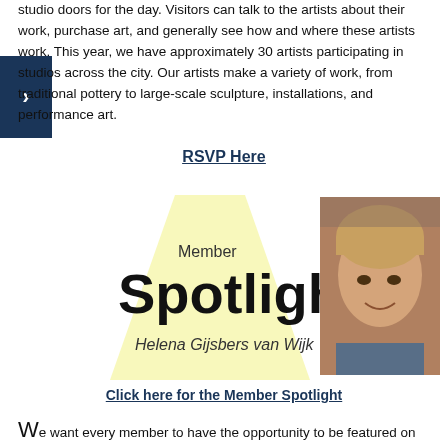studio doors for the day. Visitors can talk to the artists about their work, purchase art, and generally see how and where these artists work. This year, we have approximately 30 artists participating in studios across the city. Our artists make a variety of work, from traditional pottery to large-scale sculpture, installations, and performance art.
RSVP Here
[Figure (illustration): Member Spotlight logo with yellow spotlight cone graphic and text 'Member Spotlight' with subtitle 'Helena Gijsbers van Wijk', alongside a photo of a woman smiling]
Click here for the Member Spotlight
We want every member to have the opportunity to be featured on the Member Spotlight. In order to be selected you must have a up